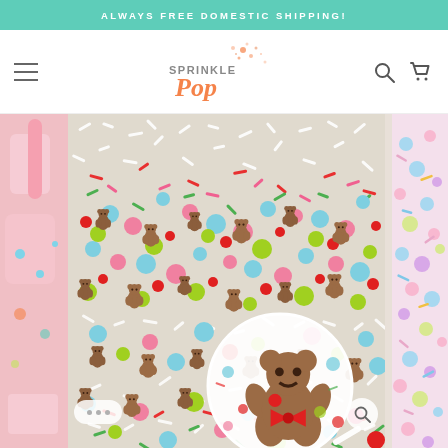ALWAYS FREE DOMESTIC SHIPPING!
[Figure (logo): Sprinkle Pop logo with orange script text and sprinkle dot decoration, navigation bar with hamburger menu, search icon, and cart icon]
[Figure (photo): Close-up product photo of a colorful Christmas sprinkle mix containing gingerbread bear-shaped candy pieces, pink, blue, green, red, and white sprinkles and pearls. A circular zoom inset shows a single gingerbread bear figure with a red bow tie. Partial left side shows a pink decorated cookie. Partial right side shows another sprinkle mix.]